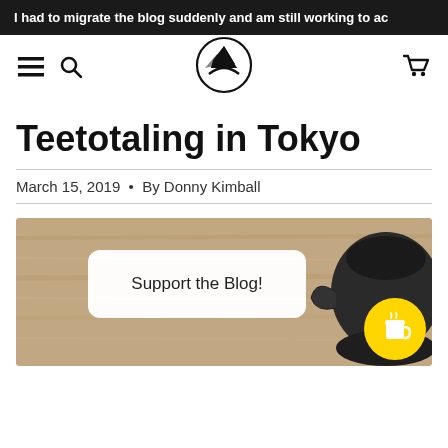I had to migrate the blog suddenly and am still working to ac
[Figure (screenshot): Navigation bar with hamburger menu, search icon, circular mountain landscape logo in center, and shopping cart icon on right]
Teetotaling in Tokyo
March 15, 2019  •  By Donny Kimball
[Figure (photo): Photo of Japanese tea items on a wooden surface with dark teapot. Overlaid with a white rounded rectangle reading 'Support the Blog!' and a yellow circular coffee cup button.]